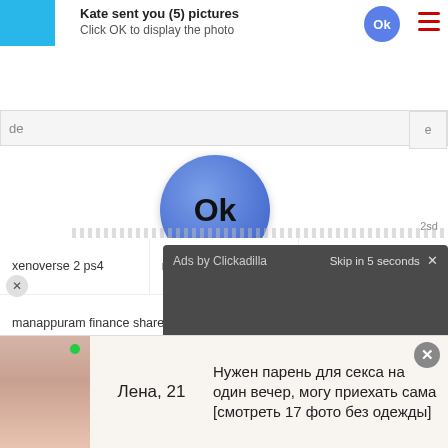Kate sent you (5) pictures
Click OK to display the photo
[Figure (screenshot): Large blue circle button with 'Ok' text in the center of a popup dialog]
2sd
Ads by Clickadilla
Skip in 5 seconds ×
xenoverse 2 ps4
nmo l31 huawei
Varus Mid vs Sylas
manappuram finance share levels
Help video
[Figure (photo): Young woman photo - Lena, 21]
Лена, 21
Нужен парень для секса на один вечер, могу приехать сама [смотреть 17 фото без одежды]